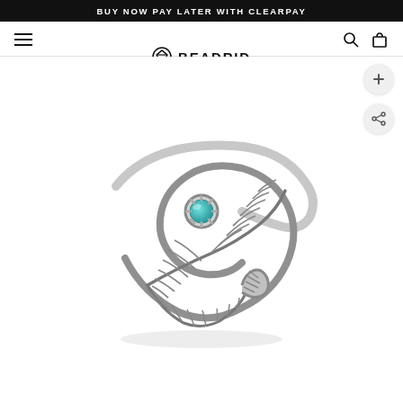BUY NOW PAY LATER WITH CLEARPAY
[Figure (logo): BEADRID logo with diamond/facet icon and nav bar including hamburger menu, search icon, and shopping bag icon]
[Figure (photo): Silver feather wrap ring with turquoise stone accent, oxidized silver finish with detailed feather engraving, photographed on white background]